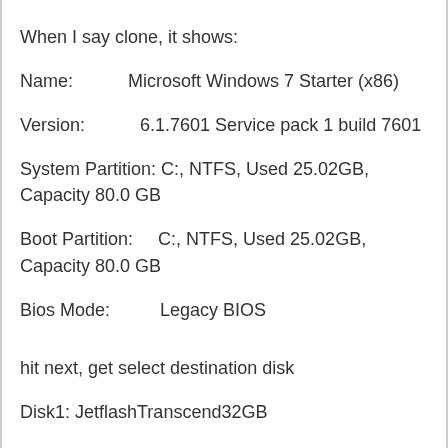When I say clone, it shows:
Name:           Microsoft Windows 7 Starter (x86)
Version:           6.1.7601 Service pack 1 build 7601
System Partition: C:, NTFS, Used 25.02GB, Capacity 80.0 GB
Boot Partition:     C:, NTFS, Used 25.02GB, Capacity 80.0 GB
Bios Mode:           Legacy BIOS
hit next, get select destination disk
Disk1: JetflashTranscend32GB
Which it formats just fine
Then I get select system and boot partition. It shows
Disk 1     WinToUSB (F😊